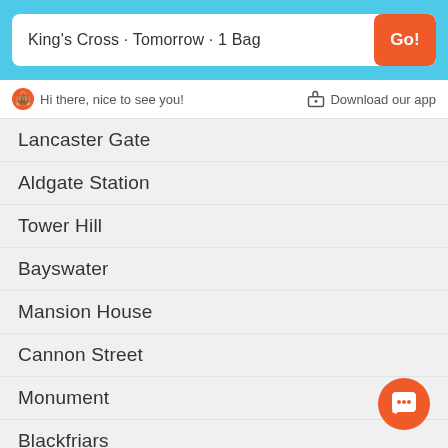King's Cross · Tomorrow · 1 Bag
Hi there, nice to see you!
Download our app
Lancaster Gate
Aldgate Station
Tower Hill
Bayswater
Mansion House
Cannon Street
Monument
Blackfriars
Clapham Junction
Lambeth North
Holborn Station
Tower Bridge